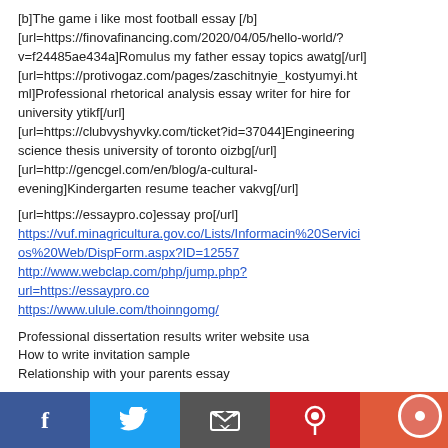[b]The game i like most football essay [/b] [url=https://finovafinancing.com/2020/04/05/hello-world/?v=f24485ae434a]Romulus my father essay topics awatg[/url] [url=https://protivogaz.com/pages/zaschitnyie_kostyumyi.html]Professional rhetorical analysis essay writer for hire for university ytikf[/url] [url=https://clubvyshyvky.com/ticket?id=37044]Engineering science thesis university of toronto oizbg[/url] [url=http://gencgel.com/en/blog/a-cultural-evening]Kindergarten resume teacher vakvg[/url]
[url=https://essaypro.co]essay pro[/url] https://vuf.minagricultura.gov.co/Lists/Informacin%20Servicios%20Web/DispForm.aspx?ID=12557 http://www.webclap.com/php/jump.php?url=https://essaypro.co https://www.ulule.com/thoinngomg/
Professional dissertation results writer website usa
How to write invitation sample
Relationship with your parents essay
Social sharing bar: Facebook, Twitter, Email, Pinterest, Chat